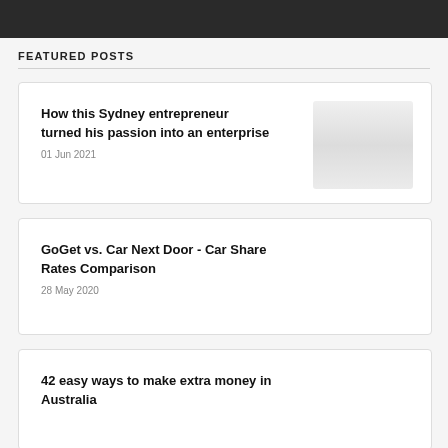[Figure (photo): Dark banner image at top of page, partially cropped showing people]
FEATURED POSTS
How this Sydney entrepreneur turned his passion into an enterprise
01 Jun 2021
[Figure (photo): Small thumbnail image showing stacked white items, light grey tones]
GoGet vs. Car Next Door - Car Share Rates Comparison
28 May 2020
42 easy ways to make extra money in Australia